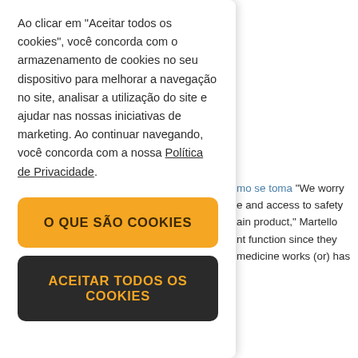mo se toma "We worry e and access to safety ain product," Martello nt function since they medicine works (or) has
Ao clicar em "Aceitar todos os cookies", você concorda com o armazenamento de cookies no seu dispositivo para melhorar a navegação no site, analisar a utilização do site e ajudar nas nossas iniciativas de marketing. Ao continuar navegando, você concorda com a nossa Política de Privacidade.
O QUE SÃO COOKIES
ACEITAR TODOS OS COOKIES
ma delivery One ould be aware of is the Hotmail, Gmail, or the most recent version